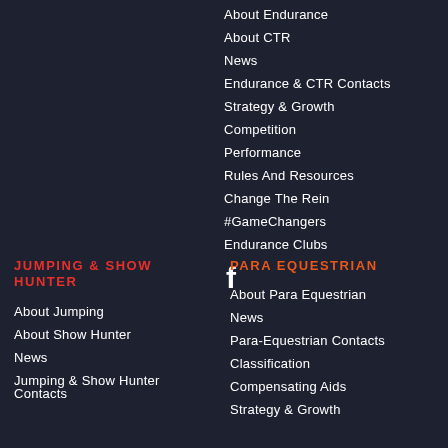About Endurance
About CTR
News
Endurance & CTR Contacts
Strategy & Growth
Competition
Performance
Rules And Resources
Change The Rein
#GameChangers
Endurance Clubs
[Figure (illustration): Facebook icon (white 'f' logo)]
JUMPING & SHOW HUNTER
About Jumping
About Show Hunter
News
Jumping & Show Hunter Contacts
PARA EQUESTRIAN
About Para Equestrian
News
Para-Equestrian Contacts
Classification
Compensating Aids
Strategy & Growth